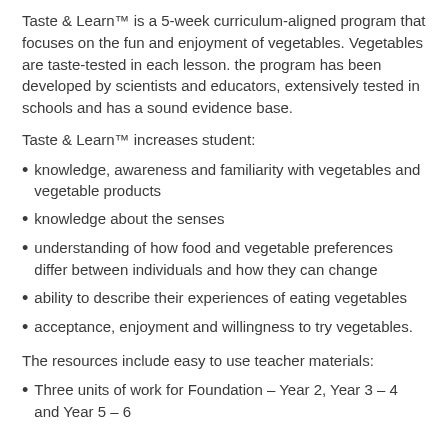Taste & Learn™ is a 5-week curriculum-aligned program that focuses on the fun and enjoyment of vegetables. Vegetables are taste-tested in each lesson. the program has been developed by scientists and educators, extensively tested in schools and has a sound evidence base.
Taste & Learn™ increases student:
knowledge, awareness and familiarity with vegetables and vegetable products
knowledge about the senses
understanding of how food and vegetable preferences differ between individuals and how they can change
ability to describe their experiences of eating vegetables
acceptance, enjoyment and willingness to try vegetables.
The resources include easy to use teacher materials:
Three units of work for Foundation – Year 2, Year 3 – 4 and Year 5 – 6